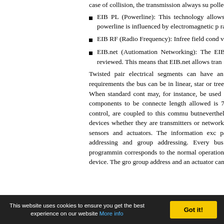EIB PL (Powerline): This technology allows to Shift Keying (SFSK) modulation technique. powerline is influenced by electromagnetic p range.
EIB RF (Radio Frequency): Infree field cond volumes can also be covered inside the buildin
EIB.net (Autiomation Networking): The EIB.ne 802-2, including Ethernet and Arcnet. An en reviewed. This means that EIB.net allows tran
Twisted pair electrical segments can have an arbitra wiring sections as long as the electrical requirements the bus can be in linear, star or tree configurations wh bus needs 1 twisted pair to work. When standard cont may, for instance, be used forcomplementary power allowing a total of 64.000 components to be connecte length allowed is 700 m between two devices and 350 by distributed control, are coupled to this commu butnevertheless it still allows, whenever it is require within the devices whether they are transmitters or networksupervisory device. This type of manageme between sensors and actuators. The information exc packet must be acknowledged. Management of EI addressing and group addressing. Every bus device as destination address for initialization, programmin corresponds to the normal operation mode. Functio message sent by a "source" EIB Bus device. The gro group address and an actuator can receive sever
case of collision, the transmission always su polled for 1 byte status-information within 50 m
This website uses cookies to ensure you get the best experience on our website More info | Got it!